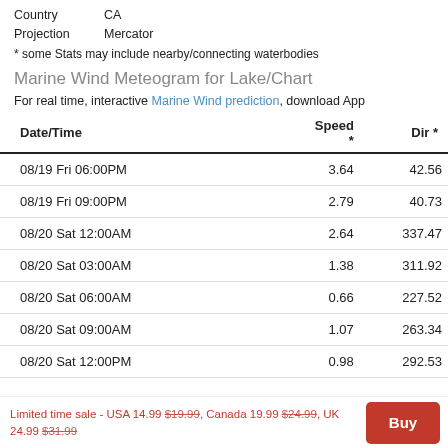Country    CA
Projection    Mercator
* some Stats may include nearby/connecting waterbodies
Marine Wind Meteogram for Lake/Chart
For real time, interactive Marine Wind prediction, download App
| Date/Time | Speed * | Dir * |
| --- | --- | --- |
| 08/19 Fri 06:00PM | 3.64 | 42.56 |
| 08/19 Fri 09:00PM | 2.79 | 40.73 |
| 08/20 Sat 12:00AM | 2.64 | 337.47 |
| 08/20 Sat 03:00AM | 1.38 | 311.92 |
| 08/20 Sat 06:00AM | 0.66 | 227.52 |
| 08/20 Sat 09:00AM | 1.07 | 263.34 |
| 08/20 Sat 12:00PM | 0.98 | 292.53 |
Limited time sale - USA 14.99 $19.99, Canada 19.99 $24.99, UK 24.99 $31.99  Buy